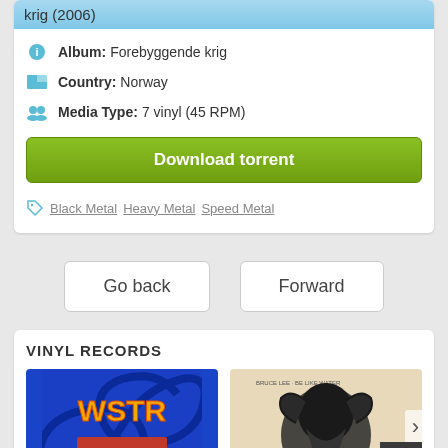krig (2006)
Album: Forebyggende krig
Country: Norway
Media Type: 7 vinyl (45 RPM)
Download torrent
Black Metal Heavy Metal Speed Metal
Go back
Forward
VINYL RECORDS
[Figure (photo): WSTR Identity Crisis album cover - blue swirl pattern with orange/yellow WSTR text]
[Figure (photo): Cream/beige album cover with dark artistic illustration]